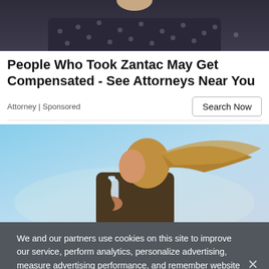[Figure (photo): Top portion of a person wearing a dark polka-dot shirt, photo cropped at shoulders/neck level]
People Who Took Zantac May Get Compensated - See Attorneys Near You
Attorney | Sponsored
[Figure (photo): Woman with long blonde hair drinking from a water bottle, photographed from behind against a blue sky background]
We and our partners use cookies on this site to improve our service, perform analytics, personalize advertising, measure advertising performance, and remember website preferences.
Ok